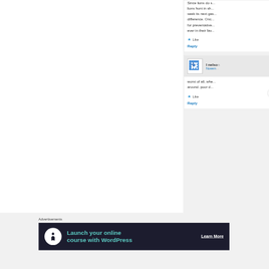Since lions do s... lions hunt in sh... seek its next gas... difference. Onc... for preventative... ever in their fav...
Like
Reply
[Figure (other): User avatar - checkered pattern blue/white squares, for user 'l nelson']
l nelson
Novem...
worst of all, whe... around. poor d...
Like
Reply
Advertisements
[Figure (infographic): Dark advertisement banner: circular white icon with person/tree silhouette, teal text 'Launch your online course with WordPress', white underlined text 'Learn More']